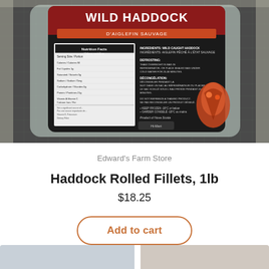[Figure (photo): Product photo of a Wild Haddock package labeled 'WILD HADDOCK D'AIGLEFIN SAUVAGE' with nutrition facts visible on a dark background, photographed on a grid cutting mat.]
Edward's Farm Store
Haddock Rolled Fillets, 1lb
$18.25
Add to cart